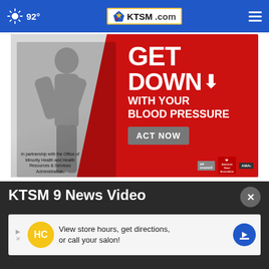92° KTSM.com
[Figure (photo): Advertisement banner: 'GET DOWN WITH YOUR BLOOD PRESSURE - ACT NOW' featuring a woman flexing, in partnership with the Office of Minority Health and Health Resources & Services Administration. Logos: ad council, American Heart Association, AMA.]
KTSM 9 News Video
[Figure (infographic): Bottom advertisement banner: 'View store hours, get directions, or call your salon!' with HC logo in yellow circle and blue direction arrow icon.]